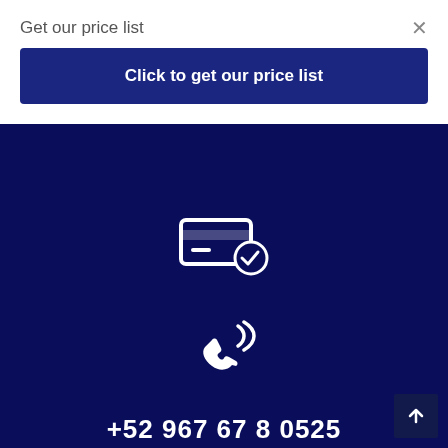Get our price list
Click to get our price list
[Figure (illustration): Dark navy background section with a card/reader icon with a checkmark circle at top, a phone call icon in the center]
+52 967 67 8 0525
+52 967 67 8 0909